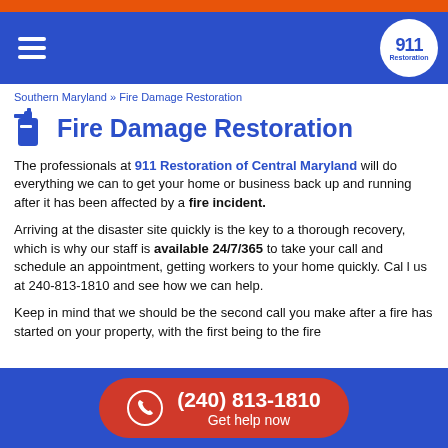We are 24/7 and implement our locations COVID-19 with...
Southern Maryland » Fire Damage Restoration
Fire Damage Restoration
The professionals at 911 Restoration of Central Maryland will do everything we can to get your home or business back up and running after it has been affected by a fire incident.
Arriving at the disaster site quickly is the key to a thorough recovery, which is why our staff is available 24/7/365 to take your call and schedule an appointment, getting workers to your home quickly. Cal l us at 240-813-1810 and see how we can help.
Keep in mind that we should be the second call you make after a fire has started on your property, with the first being to the fire
(240) 813-1810 Get help now